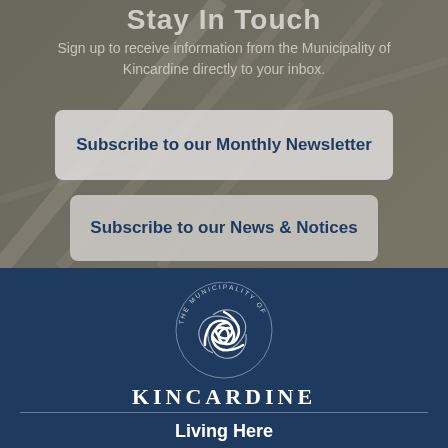Stay In Touch
Sign up to receive information from the Municipality of Kincardine directly to your inbox.
Subscribe to our Monthly Newsletter
Subscribe to our News & Notices
[Figure (logo): Municipality of Kincardine logo — circular badge with stylized triskele emblem above the word KINCARDINE]
Living Here